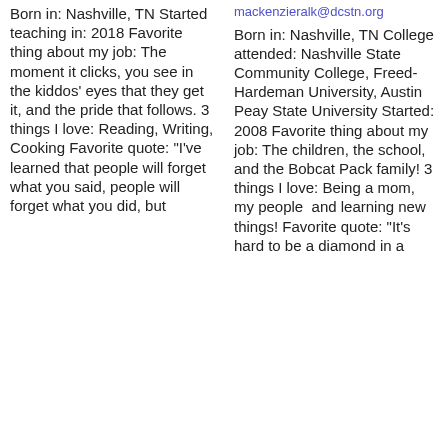Born in: Nashville, TN Started teaching in: 2018 Favorite thing about my job: The moment it clicks, you see in the kiddos' eyes that they get it, and the pride that follows. 3 things I love: Reading, Writing, Cooking Favorite quote: "I've learned that people will forget what you said, people will forget what you did, but
mackenzieralk@dcstn.org Born in: Nashville, TN College attended: Nashville State Community College, Freed-Hardeman University, Austin Peay State University Started: 2008 Favorite thing about my job: The children, the school, and the Bobcat Pack family! 3 things I love: Being a mom, my people and learning new things! Favorite quote: "It's hard to be a diamond in a